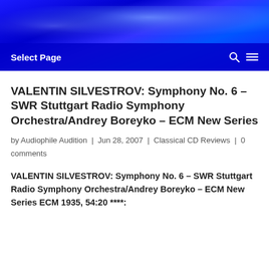Select Page
VALENTIN SILVESTROV: Symphony No. 6 – SWR Stuttgart Radio Symphony Orchestra/Andrey Boreyko – ECM New Series
by Audiophile Audition | Jun 28, 2007 | Classical CD Reviews | 0 comments
VALENTIN SILVESTROV: Symphony No. 6 – SWR Stuttgart Radio Symphony Orchestra/Andrey Boreyko – ECM New Series ECM 1935, 54:20 ****: